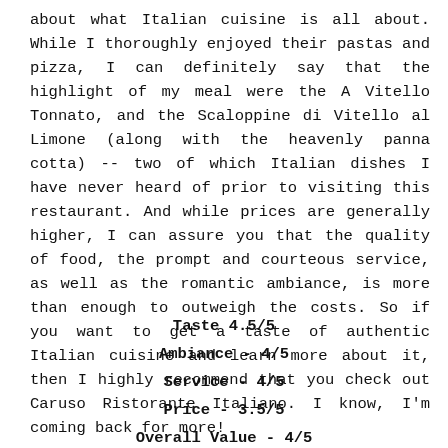about what Italian cuisine is all about. While I thoroughly enjoyed their pastas and pizza, I can definitely say that the highlight of my meal were the A Vitello Tonnato, and the Scaloppine di Vitello al Limone (along with the heavenly panna cotta) -- two of which Italian dishes I have never heard of prior to visiting this restaurant. And while prices are generally higher, I can assure you that the quality of food, the prompt and courteous service, as well as the romantic ambiance, is more than enough to outweigh the costs. So if you want to get a taste of authentic Italian cuisine and learn more about it, then I highly recommend that you check out Caruso Ristorante Italiano. I know, I'm coming back for more!
Taste 4.5/5
Ambiance - 4/5
Service - 4/5
Price - 3.5/5
Overall Value - 4/5